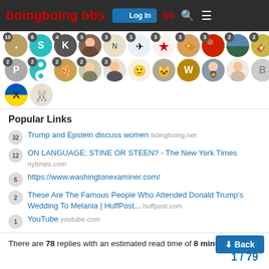Boing Boing BBS - Log In
[Figure (screenshot): Row of user avatars with numeric badges (counts 10, 6, 4, 3, 3, 3, 3, 3, 3, 2, 2)]
[Figure (screenshot): Second row of user avatars with numeric badges (counts 2, 2, 2, 2, 2) and others without badges]
[Figure (screenshot): Third row of two avatars (Ukraine flag and rabbit/animal icon)]
Popular Links
32 Trump and Epstein discuss women boingboing.net
12 ON LANGUAGE; STINE OR STEEN? - The New York Times nytimes.com
6 https://www.washingtonexaminer.com/
2 These Are The Famous People Who Attended Donald Trump's Wedding To Melania | HuffPost... huffpost.com
1 YouTube youtube.com
There are 78 replies with an estimated read time of 8 minutes.
1 / 79